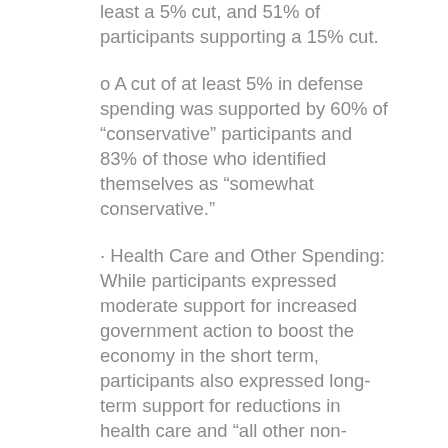least a 5% cut, and 51% of participants supporting a 15% cut.
o A cut of at least 5% in defense spending was supported by 60% of “conservative” participants and 83% of those who identified themselves as “somewhat conservative.”
· Health Care and Other Spending: While participants expressed moderate support for increased government action to boost the economy in the short term, participants also expressed long-term support for reductions in health care and “all other non-defense” spending to reduce the deficit to a sustainable level over the next 15 years. 62% of participants supported at least a 5% reduction in the former and 68% supported at least a 5% reduction in the latter.
o 36% of liberal participants and 58% of those describing themselves as “somewhat liberal” expressed support for a 5% reduction in health